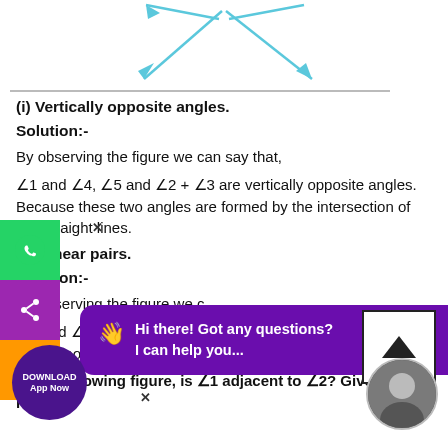[Figure (illustration): Two blue arrows forming an X shape, pointing outward in four directions, representing intersecting lines.]
(i) Vertically opposite angles.
Solution:-
By observing the figure we can say that,
∠1 and ∠4, ∠5 and ∠2 + ∠3 are vertically opposite angles. Because these two angles are formed by the intersection of two straight lines.
(ii) Linear pairs.
Solution:-
By observing the figure we can say that,
∠1 and ∠5, ∠5 and ∠4 as they have common vertex and also having non common arms opposite to each other.
In the following figure, is ∠1 adjacent to ∠2? Give reasons.